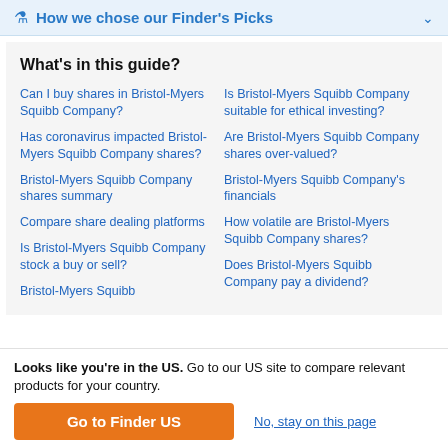How we chose our Finder's Picks
What's in this guide?
Can I buy shares in Bristol-Myers Squibb Company?
Has coronavirus impacted Bristol-Myers Squibb Company shares?
Bristol-Myers Squibb Company shares summary
Compare share dealing platforms
Is Bristol-Myers Squibb Company stock a buy or sell?
Bristol-Myers Squibb
Is Bristol-Myers Squibb Company suitable for ethical investing?
Are Bristol-Myers Squibb Company shares over-valued?
Bristol-Myers Squibb Company's financials
How volatile are Bristol-Myers Squibb Company shares?
Does Bristol-Myers Squibb Company pay a dividend?
Looks like you're in the US. Go to our US site to compare relevant products for your country.
Go to Finder US
No, stay on this page